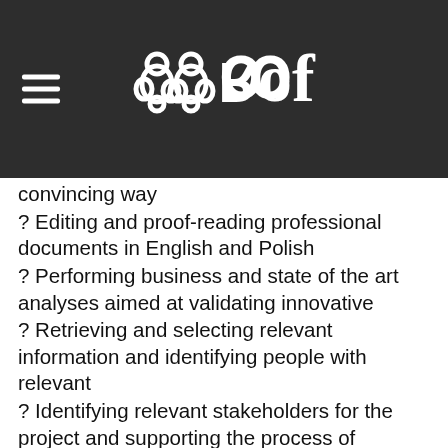[Logo: brain icon with decorative text]
convincing way
? Editing and proof-reading professional documents in English and Polish
? Performing business and state of the art analyses aimed at validating innovative
? Retrieving and selecting relevant information and identifying people with relevant
? Identifying relevant stakeholders for the project and supporting the process of technology concepts competencies in a given domain or topic partnership and project consortia building www.exeq.eu
? Delivering customer project on time and with superb quality by identifying necessary resources, creating and executing a working plan with schedules, timelines and